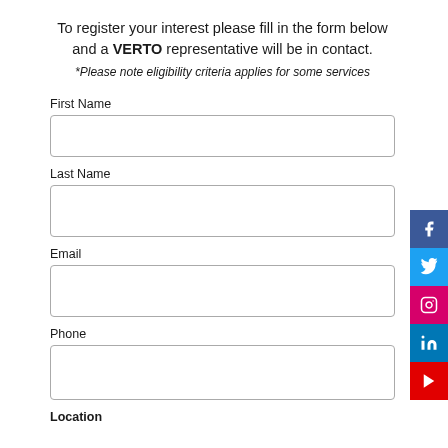To register your interest please fill in the form below and a VERTO representative will be in contact.
*Please note eligibility criteria applies for some services
First Name
Last Name
Email
Phone
Location